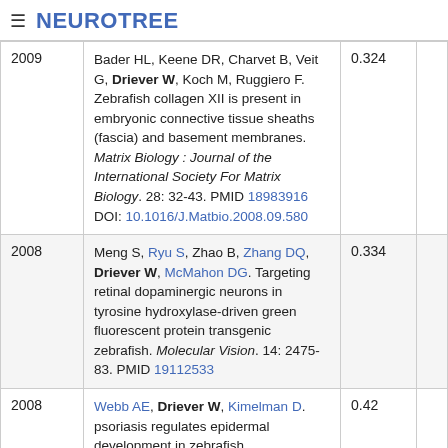NEUROTREE
| Year | Reference | Score |  |
| --- | --- | --- | --- |
| 2009 | Bader HL, Keene DR, Charvet B, Veit G, Driever W, Koch M, Ruggiero F. Zebrafish collagen XII is present in embryonic connective tissue sheaths (fascia) and basement membranes. Matrix Biology : Journal of the International Society For Matrix Biology. 28: 32-43. PMID 18983916 DOI: 10.1016/J.Matbio.2008.09.580 | 0.324 |  |
| 2008 | Meng S, Ryu S, Zhao B, Zhang DQ, Driever W, McMahon DG. Targeting retinal dopaminergic neurons in tyrosine hydroxylase-driven green fluorescent protein transgenic zebrafish. Molecular Vision. 14: 2475-83. PMID 19112533 | 0.334 |  |
| 2008 | Webb AE, Driever W, Kimelman D. psoriasis regulates epidermal development in zebrafish. Developmental Dynamics : An Official Publication of the American Association of Anatomists. 237: 1153-64. PMID 18351656 DOI: 10.1002/Dvdy.21509 | 0.42 |  |